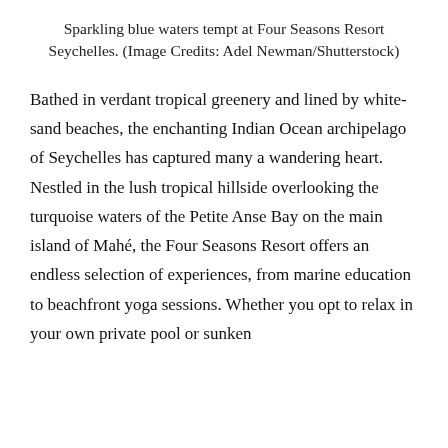Sparkling blue waters tempt at Four Seasons Resort Seychelles. (Image Credits: Adel Newman/Shutterstock)
Bathed in verdant tropical greenery and lined by white-sand beaches, the enchanting Indian Ocean archipelago of Seychelles has captured many a wandering heart. Nestled in the lush tropical hillside overlooking the turquoise waters of the Petite Anse Bay on the main island of Mahé, the Four Seasons Resort offers an endless selection of experiences, from marine education to beachfront yoga sessions. Whether you opt to relax in your own private pool or sunken